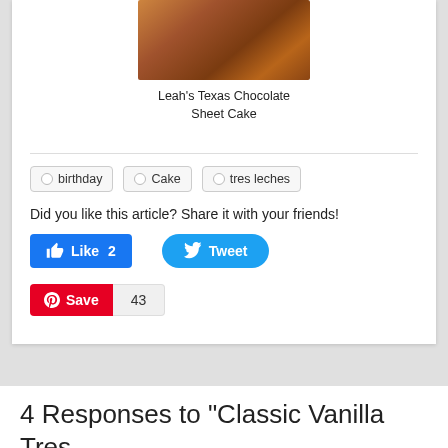[Figure (photo): Photo of chocolate frosting/ganache on a cake — Leah's Texas Chocolate Sheet Cake]
Leah's Texas Chocolate Sheet Cake
birthday
Cake
tres leches
Did you like this article? Share it with your friends!
Like 2
Tweet
Save 43
4 Responses to "Classic Vanilla Tres